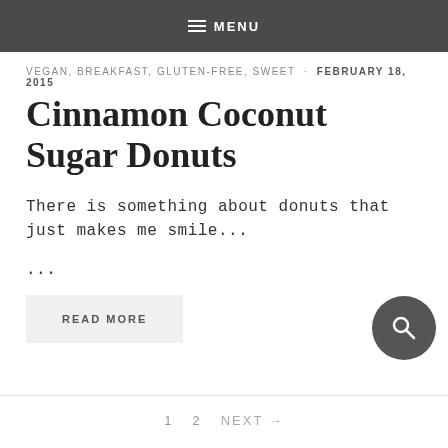MENU
VEGAN, BREAKFAST, GLUTEN-FREE, SWEET · FEBRUARY 18, 2015
Cinnamon Coconut Sugar Donuts
There is something about donuts that just makes me smile...
...
READ MORE
1   2   NEXT →